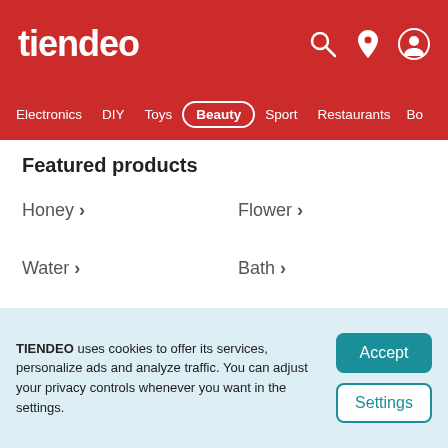tiendeo
Electronics  DIY  Toys  Beauty  Sport  Restaurants  Bo...
Featured products
Honey >
Flower >
Water >
Bath >
Police >
Pineapple >
Eau de parfum >
Eau de toilette >
TIENDEO uses cookies to offer its services, personalize ads and analyze traffic. You can adjust your privacy controls whenever you want in the settings.
Accept
Settings